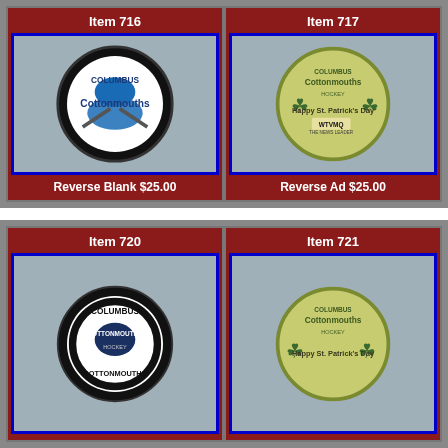[Figure (photo): Columbus Cottonmouths hockey puck with team logo, Reverse Blank - Item 716, priced at $25.00]
[Figure (photo): Columbus Cottonmouths St. Patrick's Day hockey puck with WTVMQ ad on reverse - Item 717, priced at $25.00]
[Figure (photo): Columbus Cottonmouths hockey puck with team logo, Reverse Blank - Item 720]
[Figure (photo): Columbus Cottonmouths St. Patrick's Day hockey puck - Item 721]